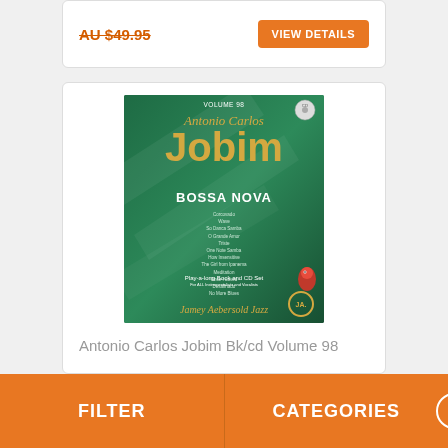AU $49.95
VIEW DETAILS
[Figure (photo): Book cover of Antonio Carlos Jobim Bossa Nova Play-a-long Book and CD Set, Volume 98, Jamey Aebersold Jazz series. Green background with gold lettering.]
Antonio Carlos Jobim Bk/cd Volume 98
FILTER
CATEGORIES